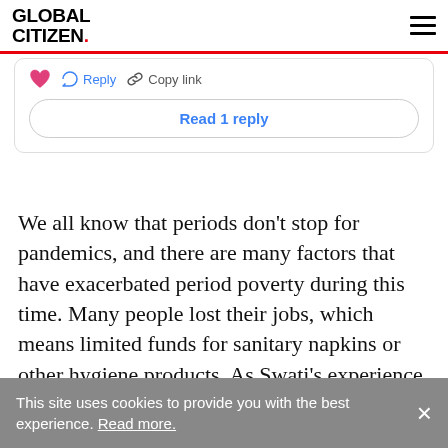GLOBAL CITIZEN.
[Figure (screenshot): Social media comment card snippet showing heart icon, Reply button, Copy link button, and a 'Read 1 reply' button]
We all know that periods don't stop for pandemics, and there are many factors that have exacerbated period poverty during this time. Many people lost their jobs, which means limited funds for sanitary napkins or other hygiene products. As Swati's experience illustrates, lack of access to products can also be caused by shame. The chaos and restrictive
This site uses cookies to provide you with the best experience. Read more.